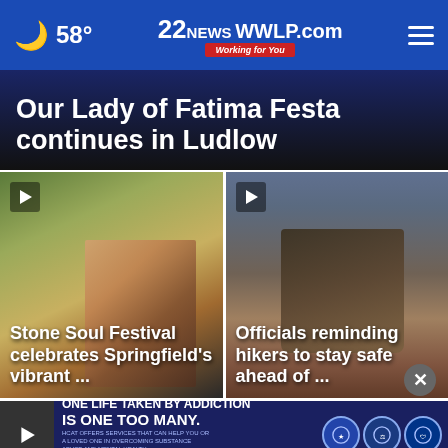☾ 58° | 22WWLP.com NEWS Working for You
Our Lady of Fatima Festa continues in Ludlow
[Figure (screenshot): Video thumbnail showing outdoor festival with artwork and tent]
Stone Soul Festival celebrates Springfield's vibrant ...
[Figure (screenshot): Video thumbnail showing hiking boots on rocky trail]
Officials reminding hikers to stay safe ahead of ...
[Figure (screenshot): Advertisement banner: ONE LIFE TAKEN BY ADDICTION IS ONE TOO MANY. HCAT OFFERS SERVICES THAT CAN HELP YOU OR A LOVED ONE IN OVERCOMING SUBSTANCE ABUSE AND MENTAL HEALTH. GET HELP NOW >>]